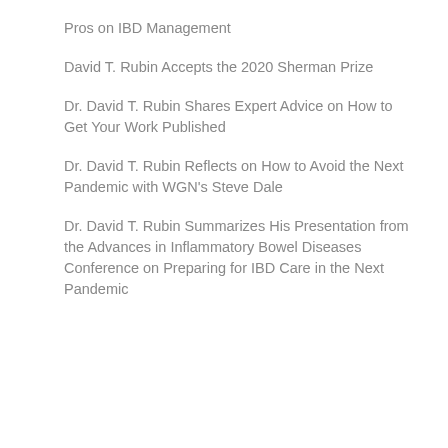Pros on IBD Management
David T. Rubin Accepts the 2020 Sherman Prize
Dr. David T. Rubin Shares Expert Advice on How to Get Your Work Published
Dr. David T. Rubin Reflects on How to Avoid the Next Pandemic with WGN's Steve Dale
Dr. David T. Rubin Summarizes His Presentation from the Advances in Inflammatory Bowel Diseases Conference on Preparing for IBD Care in the Next Pandemic